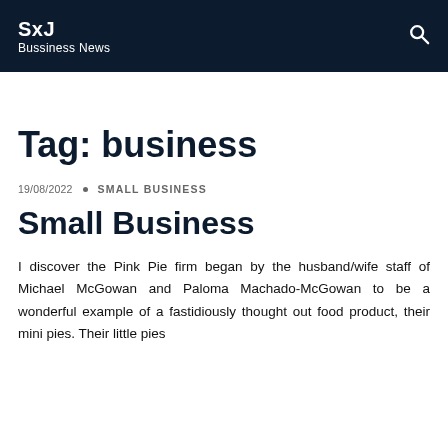SxJ
Bussiness News
Tag: business
19/08/2022 • SMALL BUSINESS
Small Business
I discover the Pink Pie firm began by the husband/wife staff of Michael McGowan and Paloma Machado-McGowan to be a wonderful example of a fastidiously thought out food product, their mini pies. Their little pies